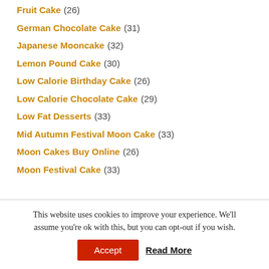Fruit Cake (26)
German Chocolate Cake (31)
Japanese Mooncake (32)
Lemon Pound Cake (30)
Low Calorie Birthday Cake (26)
Low Calorie Chocolate Cake (29)
Low Fat Desserts (33)
Mid Autumn Festival Moon Cake (33)
Moon Cakes Buy Online (26)
Moon Festival Cake (33)
This website uses cookies to improve your experience. We'll assume you're ok with this, but you can opt-out if you wish.